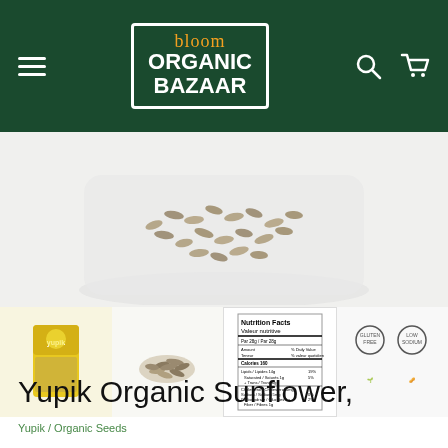bloom ORGANIC BAZAAR
[Figure (photo): Close-up of organic sunflower seeds in a clear plastic container]
[Figure (photo): Four product thumbnails: Yupik branded bag, loose sunflower seeds, Nutrition Facts label, and illustrated icons]
Yupik / Organic Seeds
Yupik Organic Sunflower,